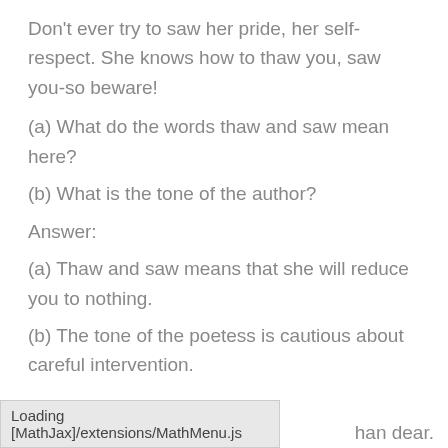Don't ever try to saw her pride, her self-respect. She knows how to thaw you, saw you-so beware!
(a) What do the words thaw and saw mean here?
(b) What is the tone of the author?
Answer:
(a) Thaw and saw means that she will reduce you to nothing.
(b) The tone of the poetess is cautious about careful intervention.
Question 5.
han dear.
Loading [MathJax]/extensions/MathMenu.js